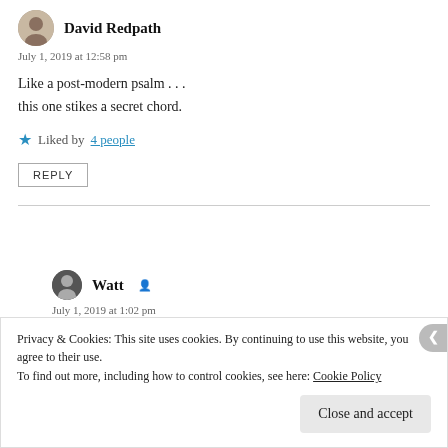David Redpath
July 1, 2019 at 12:58 pm
Like a post-modern psalm . . .
this one stikes a secret chord.
Liked by 4 people
REPLY
Watt
July 1, 2019 at 1:02 pm
Privacy & Cookies: This site uses cookies. By continuing to use this website, you agree to their use.
To find out more, including how to control cookies, see here: Cookie Policy
Close and accept